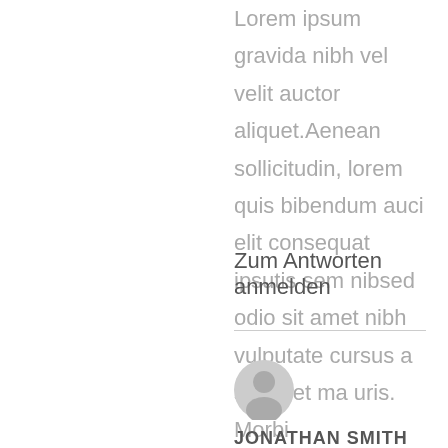Lorem ipsum gravida nibh vel velit auctor aliquet.Aenean sollicitudin, lorem quis bibendum auci elit consequat ipsutis sem nibsed odio sit amet nibh vulputate cursus a sit amet ma uris. Morbi accumsanpsum velit. Nam nec tellus a odio tincidunt auctor a ornare odio. Sed non mauris vitae erat consequat auctor eu in elit.
Zum Antworten anmelden
[Figure (illustration): User avatar icon - circular gray silhouette of a person]
JONATHAN SMITH